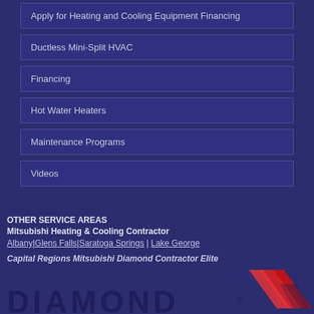Apply for Heating and Cooling Equipment Financing
Ductless Mini-Split HVAC
Financing
Hot Water Heaters
Maintenance Programs
Videos
OTHER SERVICE AREAS
Mitsubishi Heating & Cooling Contractor
Albany|Glens Falls|Saratoga Springs | Lake George
Capital Regions Mitsubishi Diamond Contractor Elite
[Figure (logo): Diamond logo with red chevron/arrow graphic and partial DIAMOND text]